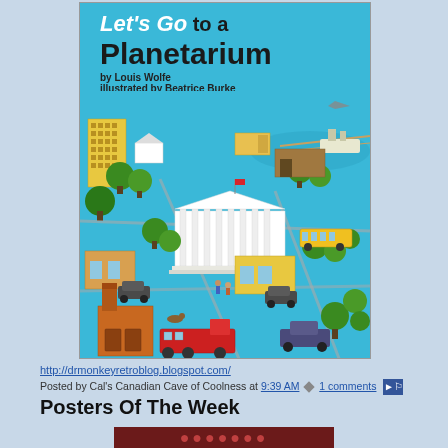[Figure (photo): Book cover for 'Let's Go to a Planetarium' by Louis Wolfe, illustrated by Beatrice Burke. Light blue cover with illustrated cityscape showing buildings, trees, roads, vehicles, and a white classical building (planetarium) in the center.]
http://drmonkeyretroblog.blogspot.com/
Posted by Cal's Canadian Cave of Coolness at 9:39 AM ◆ 1 comments ▶
Posters Of The Week
[Figure (photo): Partial view of a poster or image with dark red/maroon background, partially cut off at the bottom of the page.]